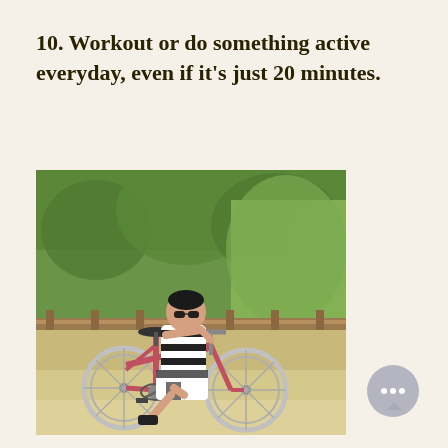10. Workout or do something active everyday, even if it's just 20 minutes.
[Figure (photo): A man wearing black and white striped clothing and sunglasses riding a pink/red vintage bicycle on a dirt/sand path, with green trees and bushes in the background and a wooden fence.]